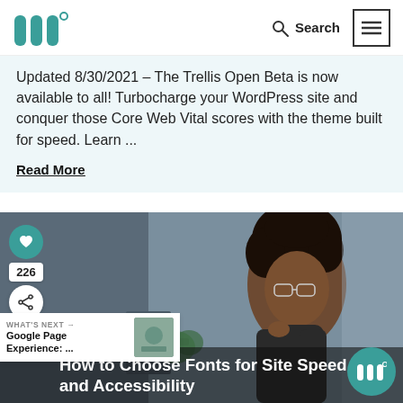[Figure (logo): Trellis logo - teal stylized W with degree symbol]
Search
Updated 8/30/2021 – The Trellis Open Beta is now available to all! Turbocharge your WordPress site and conquer those Core Web Vital scores with the theme built for speed. Learn ...
Read More
[Figure (photo): Black woman with natural updo hair wearing glasses, looking thoughtfully at a screen, in an office environment]
WHAT'S NEXT → Google Page Experience: ...
How to Choose Fonts for Site Speed and Accessibility